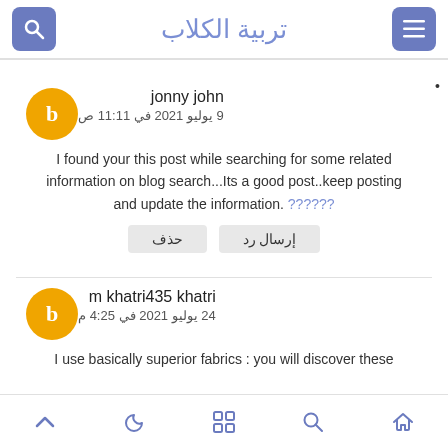تربية الكلاب
jonny john
9 يوليو 2021 في 11:11 ص
I found your this post while searching for some related information on blog search...Its a good post..keep posting and update the information. ??????
إرسال رد   حذف
m khatri435 khatri
24 يوليو 2021 في 4:25 م
I use basically superior fabrics : you will discover these